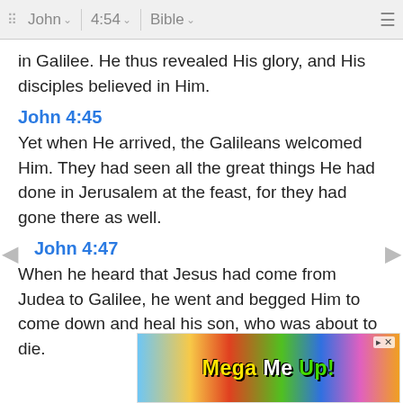John  4:54  Bible
in Galilee. He thus revealed His glory, and His disciples believed in Him.
John 4:45
Yet when He arrived, the Galileans welcomed Him. They had seen all the great things He had done in Jerusalem at the feast, for they had gone there as well.
John 4:47
When he heard that Jesus had come from Judea to Galilee, he went and begged Him to come down and heal his son, who was about to die.
Treasury of Scripture
This i... when...
[Figure (other): Mega Me Up advertisement banner with colorful candy graphics]